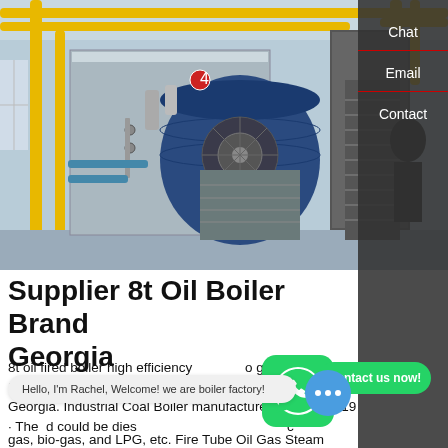[Figure (photo): Industrial boiler room with large blue cylindrical boiler, yellow pipes, metal staircases, and industrial equipment in a warehouse-like facility.]
Supplier 8t Oil Boiler Brand Georgia
8t oil fired boiler high efficiency georgia. 8t Oil Boiler Plant Georgia. High Efficiency Supplier 8t boiler Georgia. Industrial Coal Boiler manufacturer. Jun 12, 2019 · The could be dies gas, bio-gas, and LPG, etc. Fire Tube Oil Gas Steam
[Figure (other): WhatsApp contact button (green rounded square with phone icon) and 'Contact us now!' green pill button overlay]
Hello, I'm Rachel, Welcome! we are boiler factory!
[Figure (other): Chat bot circle icon with ellipsis (...)]
Chat
Email
Contact